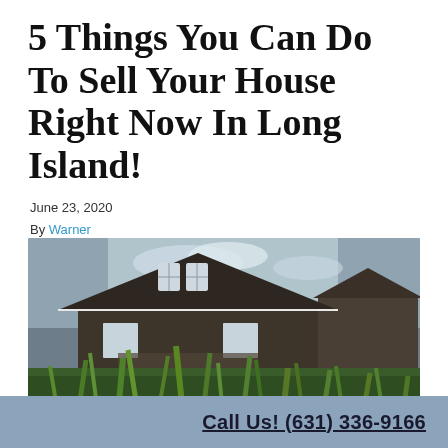5 Things You Can Do To Sell Your House Right Now In Long Island!
June 23, 2020
By Warner
[Figure (photo): Exterior photo of a dark brown house with tall grass in the foreground, taken from a low angle.]
Are you looking for a way to sell your house right now in Long Island? In this post, we will provide you with all the information you need so you can sell your house fast...
Call Us! (631) 336-9166